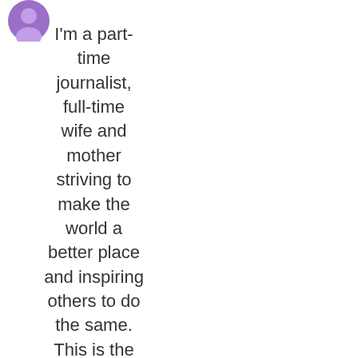[Figure (illustration): A small circular purple avatar/profile image in the top left corner]
I'm a part-time journalist, full-time wife and mother striving to make the world a better place and inspiring others to do the same. This is the space where I share my journey in